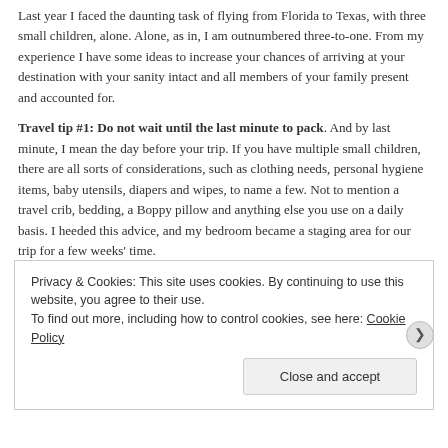Last year I faced the daunting task of flying from Florida to Texas, with three small children, alone. Alone, as in, I am outnumbered three-to-one. From my experience I have some ideas to increase your chances of arriving at your destination with your sanity intact and all members of your family present and accounted for.
Travel tip #1: Do not wait until the last minute to pack. And by last minute, I mean the day before your trip. If you have multiple small children, there are all sorts of considerations, such as clothing needs, personal hygiene items, baby utensils, diapers and wipes, to name a few. Not to mention a travel crib, bedding, a Boppy pillow and anything else you use on a daily basis. I heeded this advice, and my bedroom became a staging area for our trip for a few weeks' time.
Privacy & Cookies: This site uses cookies. By continuing to use this website, you agree to their use. To find out more, including how to control cookies, see here: Cookie Policy